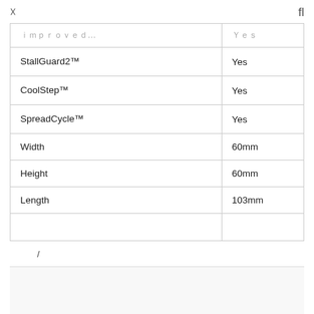☰  fl
| Feature | Value |
| --- | --- |
| ｉｍｐｒｏｖｅｄ… | Ｙｅｓ |
| StallGuard2™　　　　　　　　　　　 | Yes |
| CoolStep™　　　　　 | Yes |
| SpreadCycle™　　　　　 | Yes |
| Width | 60mm |
| Height | 60mm |
| Length | 103mm |
| 　　　　 | 　　 |
/